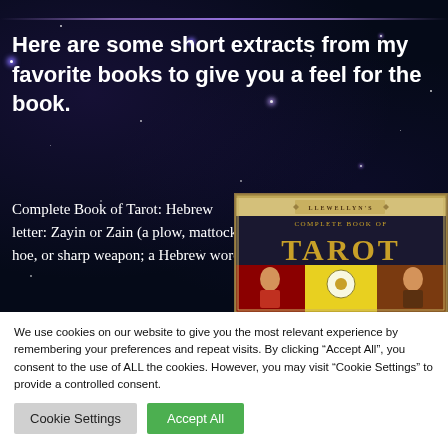Here are some short extracts from my favorite books to give you a feel for the book.
Complete Book of Tarot: Hebrew letter: Zayin or Zain (a plow, mattock, hoe, or sharp weapon; a Hebrew word
[Figure (photo): Book cover of Llewellyn's Complete Book of Tarot, showing tarot card imagery with red, yellow, and brown illustrated panels]
We use cookies on our website to give you the most relevant experience by remembering your preferences and repeat visits. By clicking “Accept All”, you consent to the use of ALL the cookies. However, you may visit "Cookie Settings" to provide a controlled consent.
Cookie Settings | Accept All